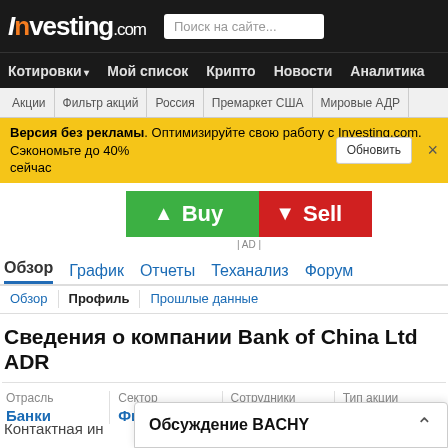Investing.com
Котировки  Мой список  Крипто  Новости  Аналитика
Акции  Фильтр акций  Россия  Премаркет США  Мировые АДР
Версия без рекламы. Оптимизируйте свою работу с Investing.com. Сэкономьте до 40% сейчас
[Figure (other): Buy and Sell buttons advertisement]
| AD |
Обзор  График  Отчеты  Теханализ  Форум
Обзор  |  Профиль  |  Прошлые данные
Сведения о компании Bank of China Ltd ADR
| Отрасль | Сектор | Сотрудники | Тип акции |
| --- | --- | --- | --- |
| Банки | Финансы | 309084 | ADR |
Контактная ин
Обсуждение BACHY